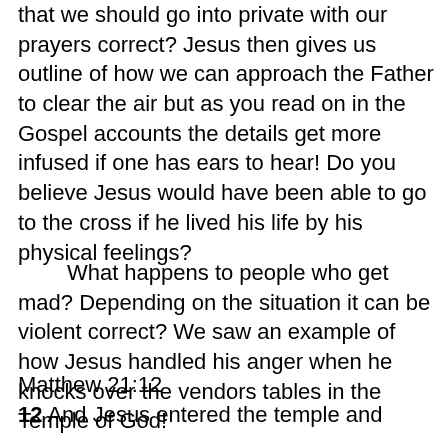that we should go into private with our prayers correct? Jesus then gives us outline of how we can approach the Father to clear the air but as you read on in the Gospel accounts the details get more infused if one has ears to hear! Do you believe Jesus would have been able to go to the cross if he lived his life by his physical feelings?
What happens to people who get mad? Depending on the situation it can be violent correct? We saw an example of how Jesus handled his anger when he knocks over the vendors tables in the Temple of God!
Matthew 21:12
12 And Jesus entered the temple and